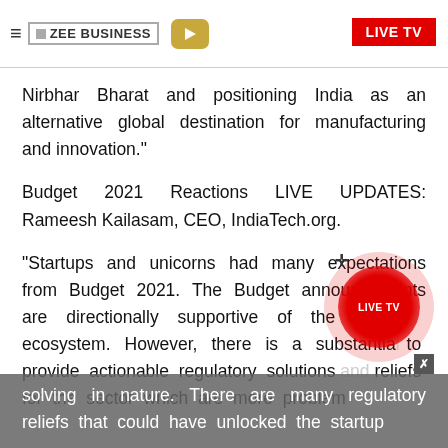ZEE BUSINESS | LIVE TV
Nirbhar Bharat and positioning India as an alternative global destination for manufacturing and innovation."
Budget 2021 Reactions LIVE UPDATES: Rameesh Kailasam, CEO, IndiaTech.org.
"Startups and unicorns had many expectations from Budget 2021. The Budget announcements are directionally supportive of the [startup] ecosystem. However, there is a substantial [gap] to provide actionable regulatory solutions and reliefs for the sector which are more problem solving in nature. There are many regulatory reliefs that could have unlocked the startup